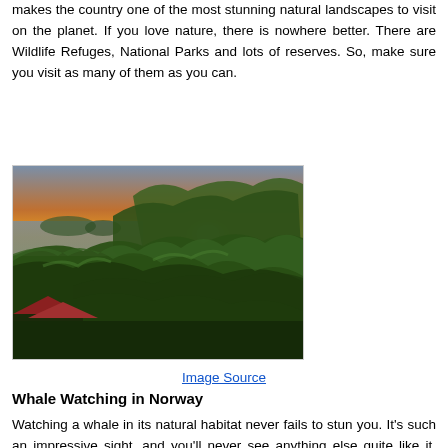makes the country one of the most stunning natural landscapes to visit on the planet. If you love nature, there is nowhere better. There are Wildlife Refuges, National Parks and lots of reserves. So, make sure you visit as many of them as you can.
[Figure (photo): Aerial view of tropical jungle coastline at sunset, with golden light on the horizon, dense green treetops in foreground, ocean and islands visible in background, buildings with red rooftops at bottom left.]
Image Source
Whale Watching in Norway
Watching a whale in its natural habitat never fails to stun you. It's such an impressive sight, and you'll never see anything else quite like it. There are many different places in which you can see whales in the ocean, but one of the best is Norway. The country is fantastical for all kinds of things, but the whale watching trips are